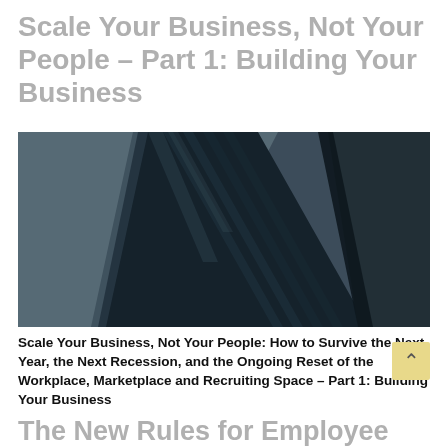Scale Your Business, Not Your People – Part 1: Building Your Business
[Figure (photo): Low-angle view of a dark glass skyscraper with angular architecture against a grey sky]
Scale Your Business, Not Your People: How to Survive the Next Year, the Next Recession, and the Ongoing Reset of the Workplace, Marketplace and Recruiting Space – Part 1: Building Your Business
The New Rules for Employee